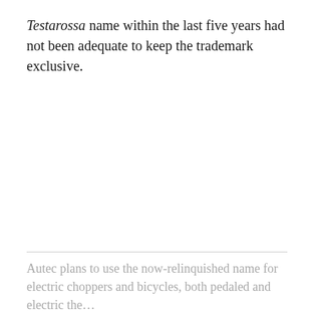Testarossa name within the last five years had not been adequate to keep the trademark exclusive.
Autec plans to use the now-relinquished name for electric choppers and bicycles, both pedaled and electric the...